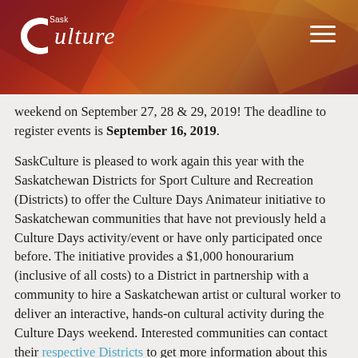SaskCulture
weekend on September 27, 28 & 29, 2019! The deadline to register events is September 16, 2019.
SaskCulture is pleased to work again this year with the Saskatchewan Districts for Sport Culture and Recreation (Districts) to offer the Culture Days Animateur initiative to Saskatchewan communities that have not previously held a Culture Days activity/event or have only participated once before. The initiative provides a $1,000 honourarium (inclusive of all costs) to a District in partnership with a community to hire a Saskatchewan artist or cultural worker to deliver an interactive, hands-on cultural activity during the Culture Days weekend. Interested communities can contact their respective Districts to get more information about this opportunity.
The Saskatchewan Library Association (SLA) is offering ten-$200 grants to member libraries who are planning